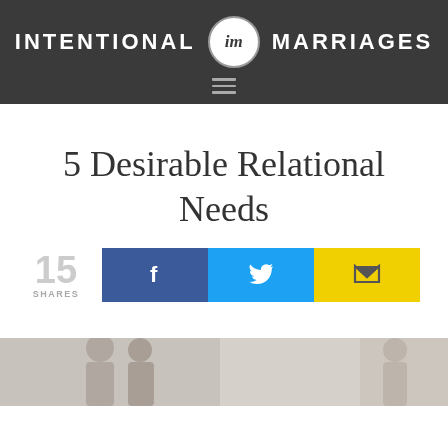INTENTIONAL im MARRIAGES
5 Desirable Relational Needs
15 SHARES
[Figure (screenshot): Share buttons: Facebook (blue), Twitter (cyan), Email (yellow) with 15 shares count]
[Figure (photo): Partial photo strip at bottom showing people, cropped]